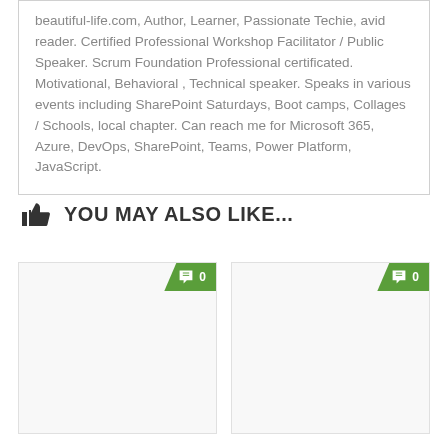beautiful-life.com, Author, Learner, Passionate Techie, avid reader. Certified Professional Workshop Facilitator / Public Speaker. Scrum Foundation Professional certificated. Motivational, Behavioral , Technical speaker. Speaks in various events including SharePoint Saturdays, Boot camps, Collages / Schools, local chapter. Can reach me for Microsoft 365, Azure, DevOps, SharePoint, Teams, Power Platform, JavaScript.
YOU MAY ALSO LIKE...
[Figure (other): Comment badge showing 0 comments on a card thumbnail]
[Figure (other): Comment badge showing 0 comments on a card thumbnail]